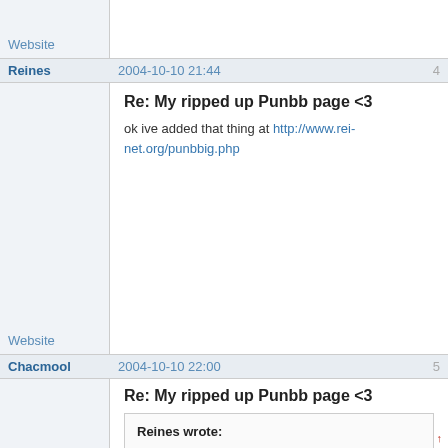Website
| Author | Date | Post# |
| --- | --- | --- |
| Reines | 2004-10-10 21:44 | 4 |
| Website | Re: My ripped up Punbb page <3
ok ive added that thing at http://www.rei-net.org/punbbig.php |  |
| Chacmool | 2004-10-10 22:00 | 5 |
|  | Re: My ripped up Punbb page <3
Reines wrote:
ok ive added that thing at http://www.rei- |  |